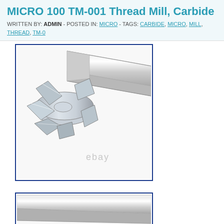MICRO 100 TM-001 Thread Mill, Carbide
WRITTEN BY: ADMIN - POSTED IN: MICRO - TAGS: CARBIDE, MICRO, MILL, THREAD, TM-0...
[Figure (photo): Photo of a carbide thread mill tool (MICRO 100 TM-001) shown at an angle, with a cylindrical shank and multi-flute threaded cutting head. eBay watermark visible at bottom.]
[Figure (photo): Partial/cropped photo of the same carbide thread mill tool, showing mostly the cylindrical shank.]